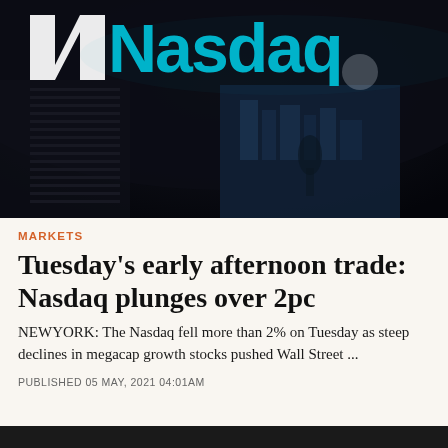[Figure (photo): Photograph of the Nasdaq building exterior at night, showing the large curved dark facade with cyan/turquoise Nasdaq logo and lettering illuminated. City buildings visible in background reflection.]
MARKETS
Tuesday's early afternoon trade: Nasdaq plunges over 2pc
NEWYORK: The Nasdaq fell more than 2% on Tuesday as steep declines in megacap growth stocks pushed Wall Street ...
PUBLISHED 05 MAY, 2021 04:01AM